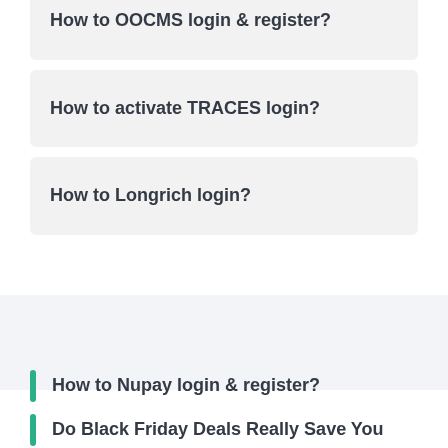How to OOCMS login & register?
How to activate TRACES login?
How to Longrich login?
How to Nupay login & register?
Do Black Friday Deals Really Save You